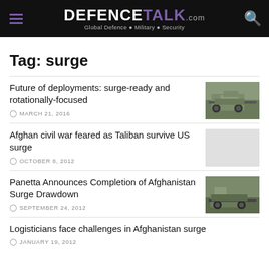DEFENCETALK.com — Global Defence • Military • Security
Tag: surge
Future of deployments: surge-ready and rotationally-focused
MARCH 21, 2016
Afghan civil war feared as Taliban survive US surge
OCTOBER 8, 2012
Panetta Announces Completion of Afghanistan Surge Drawdown
SEPTEMBER 24, 2012
Logisticians face challenges in Afghanistan surge
JANUARY 19, 2012